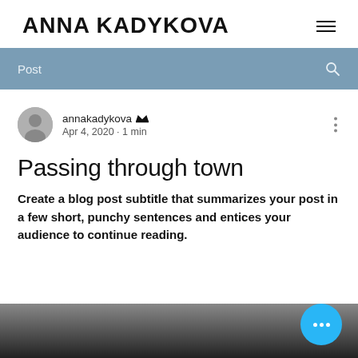ANNA KADYKOVA
Post
annakadykova  Apr 4, 2020 · 1 min
Passing through town
Create a blog post subtitle that summarizes your post in a few short, punchy sentences and entices your audience to continue reading.
[Figure (photo): Dark blurred image at the bottom of the blog post preview]